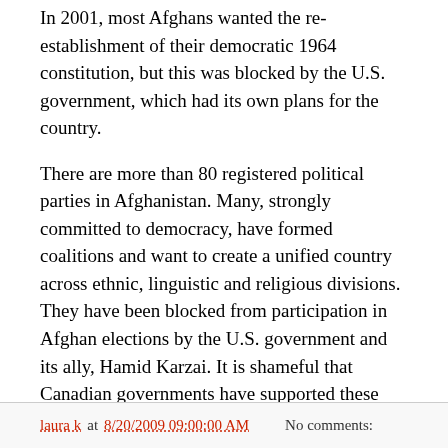In 2001, most Afghans wanted the re-establishment of their democratic 1964 constitution, but this was blocked by the U.S. government, which had its own plans for the country.
There are more than 80 registered political parties in Afghanistan. Many, strongly committed to democracy, have formed coalitions and want to create a unified country across ethnic, linguistic and religious divisions. They have been blocked from participation in Afghan elections by the U.S. government and its ally, Hamid Karzai. It is shameful that Canadian governments have supported these policies.
John W. Warnock, author, Creating a Failed State: The U.S. and Canada in Afghanistan, Regina
laura k at 8/20/2009 09:00:00 AM   No comments: